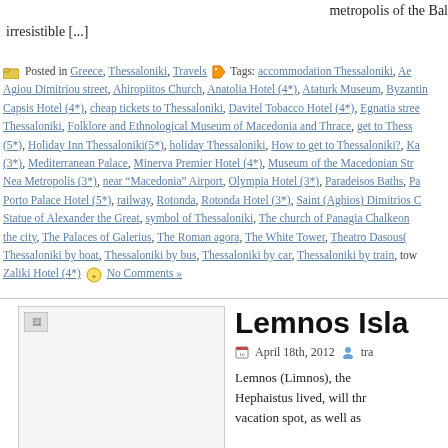metropolis of the Bal irresistible [...]
Posted in Greece, Thessaloniki, Travels Tags: accommodation Thessaloniki, Agiou Dimitriou street, Ahiropiitos Church, Anatolia Hotel (4*), Ataturk Museum, Byzantine, Capsis Hotel (4*), cheap tickets to Thessaloniki, Davitel Tobacco Hotel (4*), Egnatia street Thessaloniki, Folklore and Ethnological Museum of Macedonia and Thrace, get to Thessaloniki, (5*), Holiday Inn Thessaloniki(5*), holiday Thessaloniki, How to get to Thessaloniki?, (3*), Mediterranean Palace, Minerva Premier Hotel (4*), Museum of the Macedonian Str, Nea Metropolis (3*), near "Macedonia" Airport, Olympia Hotel (3*), Paradeisos Baths, Porto Palace Hotel (5*), railway, Rotonda, Rotonda Hotel (3*), Saint (Aghios) Dimitrios C, Statue of Alexander the Great, symbol of Thessaloniki, The church of Panagia Chalkeon, the city, The Palaces of Galerius, The Roman agora, The White Tower, Theatro Dasous, Thessaloniki by boat, Thessaloniki by bus, Thessaloniki by car, Thessaloniki by train, tow, Zaliki Hotel (4*) No Comments »
[Figure (photo): Broken image placeholder for Lemnos Island article]
Lemnos Isla
April 18th, 2012  tra
Lemnos (Limnos), the Hephaistus lived, will thr vacation spot, as well as